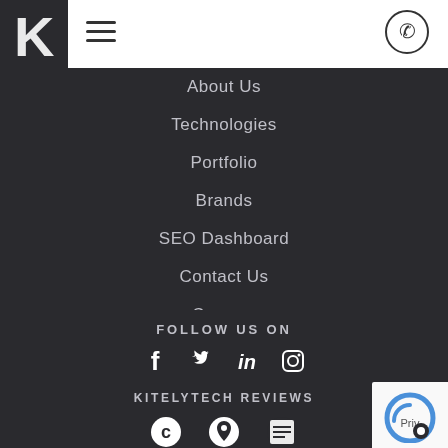[Figure (logo): White letter K logo on dark background]
[Figure (illustration): Hamburger menu icon (three horizontal lines) on white background]
[Figure (illustration): Phone icon inside a circle on white background]
About Us
Technologies
Portfolio
Brands
SEO Dashboard
Contact Us
Careers
FOLLOW US ON
[Figure (illustration): Social media icons: Facebook, Twitter, LinkedIn, Instagram]
KITELYTECH REVIEWS
[Figure (illustration): Review platform icons: Clutch, Google Maps pin, another review icon]
[Figure (illustration): reCAPTCHA widget partially visible in bottom-right corner]